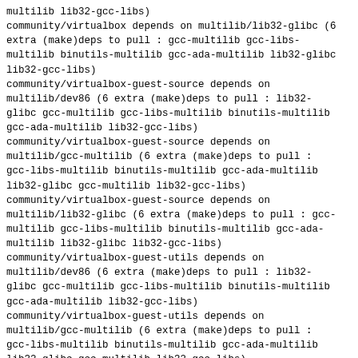multilib lib32-gcc-libs)
community/virtualbox depends on multilib/lib32-glibc (6 extra (make)deps to pull : gcc-multilib gcc-libs-multilib binutils-multilib gcc-ada-multilib lib32-glibc lib32-gcc-libs)
community/virtualbox-guest-source depends on multilib/dev86 (6 extra (make)deps to pull : lib32-glibc gcc-multilib gcc-libs-multilib binutils-multilib gcc-ada-multilib lib32-gcc-libs)
community/virtualbox-guest-source depends on multilib/gcc-multilib (6 extra (make)deps to pull : gcc-libs-multilib binutils-multilib gcc-ada-multilib lib32-glibc gcc-multilib lib32-gcc-libs)
community/virtualbox-guest-source depends on multilib/lib32-glibc (6 extra (make)deps to pull : gcc-multilib gcc-libs-multilib binutils-multilib gcc-ada-multilib lib32-glibc lib32-gcc-libs)
community/virtualbox-guest-utils depends on multilib/dev86 (6 extra (make)deps to pull : lib32-glibc gcc-multilib gcc-libs-multilib binutils-multilib gcc-ada-multilib lib32-gcc-libs)
community/virtualbox-guest-utils depends on multilib/gcc-multilib (6 extra (make)deps to pull : gcc-libs-multilib binutils-multilib gcc-ada-multilib lib32-glibc gcc-multilib lib32-gcc-libs)
community/virtualbox-guest-utils depends on multilib/lib32-glibc (6 extra (make)deps to pull : gcc-multilib gcc-libs-multilib binutils-multilib gcc-ada-multilib lib32-glibc lib32-gcc-libs)
community/virtualbox-host-source depends on multilib/lib32-glibc (6 extra (make)deps to pull : lib32-